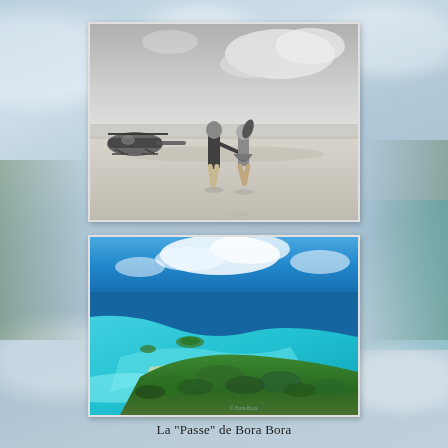[Figure (photo): Black and white photograph of a couple running hand-in-hand on a white sand beach with a helicopter parked in the background on the left side.]
[Figure (photo): Aerial color photograph of Bora Bora showing the turquoise lagoon, the pass, coral reefs, and lush green island with deep blue ocean in the background.]
La "Passe" de Bora Bora